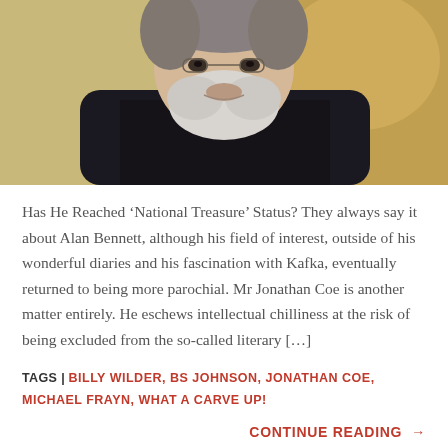[Figure (photo): Close-up portrait photo of an older man with a white beard, wearing a dark suit jacket and white shirt, with a warm blurred background]
Has He Reached ‘National Treasure’ Status? They always say it about Alan Bennett, although his field of interest, outside of his wonderful diaries and his fascination with Kafka, eventually returned to being more parochial. Mr Jonathan Coe is another matter entirely. He eschews intellectual chilliness at the risk of being excluded from the so-called literary […]
TAGS | BILLY WILDER, BS JOHNSON, JONATHAN COE, MICHAEL FRAYN, WHAT A CARVE UP!
CONTINUE READING →